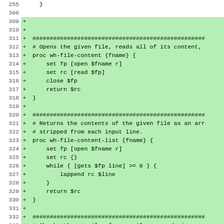Code diff view showing lines 309-337 of a Tcl script with added lines (+) highlighted in green. Lines include proc definitions for wh-file-content and wh-file-content-list, and comments about compile_commands.json support.